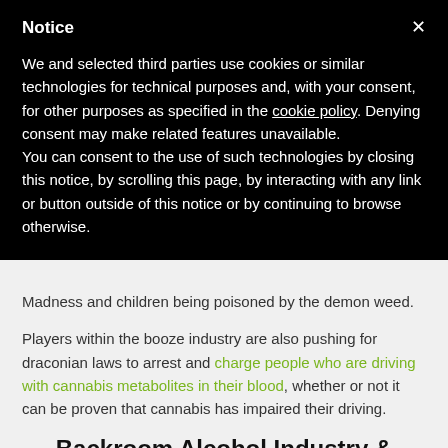Notice
We and selected third parties use cookies or similar technologies for technical purposes and, with your consent, for other purposes as specified in the cookie policy. Denying consent may make related features unavailable.
You can consent to the use of such technologies by closing this notice, by scrolling this page, by interacting with any link or button outside of this notice or by continuing to browse otherwise.
Madness and children being poisoned by the demon weed.
Players within the booze industry are also pushing for draconian laws to arrest and charge people who are driving with cannabis metabolites in their blood, whether or not it can be proven that cannabis has impaired their driving.
Backroom Alcohol Industry & Government Collusion Against Cannabis